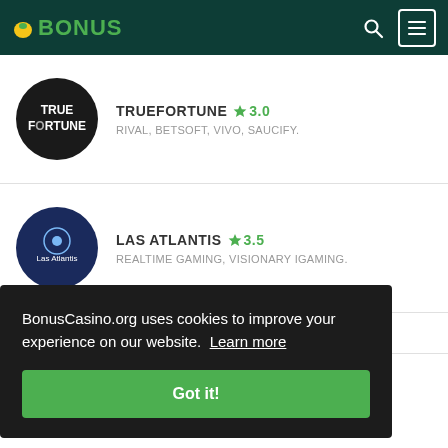BONUS
TRUEFORTUNE ★3.0 — RIVAL, BETSOFT, VIVO, SAUCIFY.
LAS ATLANTIS ★3.5 — REALTIME GAMING, VISIONARY IGAMING.
BonusCasino.org uses cookies to improve your experience on our website. Learn more
Got it!